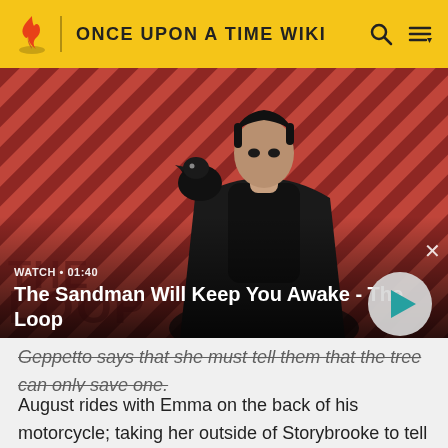ONCE UPON A TIME WIKI
[Figure (screenshot): Video thumbnail showing a dark-clad figure with a raven on their shoulder against a red and dark diagonal striped background. Text overlay: WATCH • 01:40 | The Sandman Will Keep You Awake - The Loop. A circular play button is on the right.]
Geppetto says that she must tell them that the tree can only save one.
August rides with Emma on the back of his motorcycle; taking her outside of Storybrooke to tell her his story.